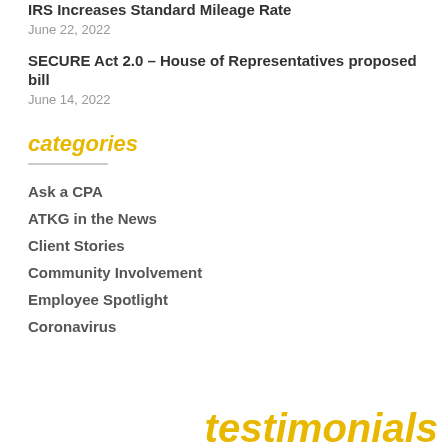IRS Increases Standard Mileage Rate
June 22, 2022
SECURE Act 2.0 – House of Representatives proposed bill
June 14, 2022
categories
Ask a CPA
ATKG in the News
Client Stories
Community Involvement
Employee Spotlight
Coronavirus
testimonials